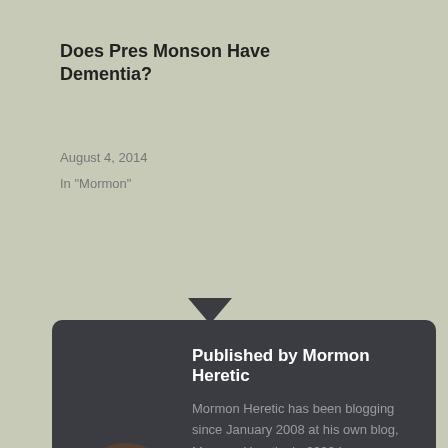Does Pres Monson Have Dementia?
August 4, 2014
In "Mormon"
Published by Mormon Heretic
Mormon Heretic has been blogging since January 2008 at his own blog, Mormon Heretic. In 2009 he was invited to join Mormon Matters, and joined Wheat and Tares in 2010. He is married with three kids, is active in the LDS Church, a returned missionary, and a member of the Mormon History Association and the John Whitmer Association. View all posts by Mormon Heretic